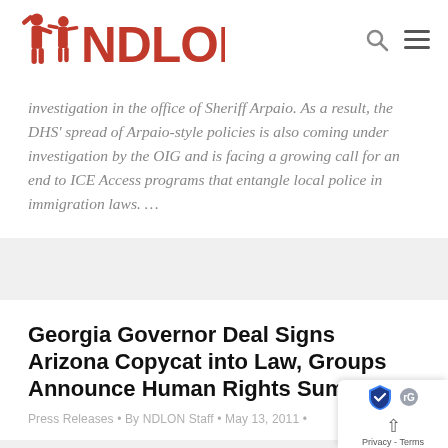NDLON
investigation in the office of Sheriff Arpaio. As a result, the DHS' spread of Arpaio-style policies is also coming under investigation by the OIG and is facing a growing call for an end to ICE Access programs that entangle local police in immigration laws. …
Georgia Governor Deal Signs Arizona Copycat into Law, Groups Announce Human Rights Summer.
Press Releases • By NDLON Staff • May 13, 2011 •